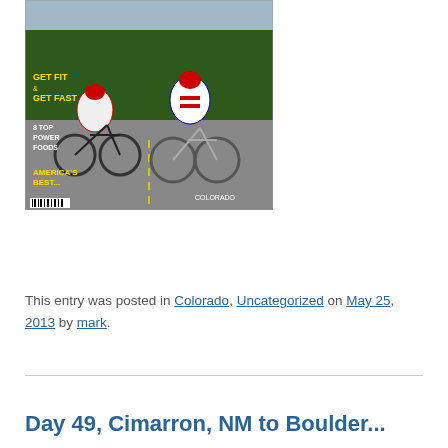[Figure (photo): Magazine cover showing two cyclists riding on a mountain road. Text on cover reads 'GET FIT & GET FAST', '8 TOP POWER FOODS', 'AMERICA'S BEST...' with barcode at bottom left and 'COLORADO' text visible.]
This entry was posted in Colorado, Uncategorized on May 25, 2013 by mark.
Day 49, Cimarron, NM to Boulder...